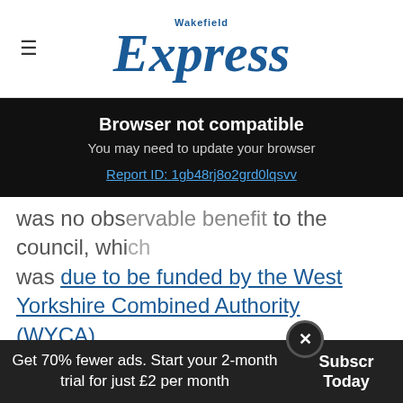Wakefield Express
[Figure (screenshot): Browser not compatible overlay with dark background. Title: 'Browser not compatible'. Subtitle: 'You may need to update your browser'. Link: 'Report ID: 1gb48rj8o2grd0lqsvv']
was no observable benefit to the council, which was due to be funded by the West Yorkshire Combined Authority (WYCA).
Mr Boothman said: "We've demanded that the scheme is cancelled on the grounds that it's not going to deliver value for money.
Get 70% fewer ads. Start your 2-month trial for just £2 per month   Subscribe Today